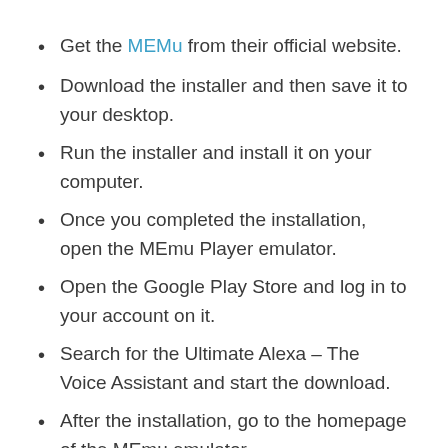Get the MEMu from their official website.
Download the installer and then save it to your desktop.
Run the installer and install it on your computer.
Once you completed the installation, open the MEmu Player emulator.
Open the Google Play Store and log in to your account on it.
Search for the Ultimate Alexa – The Voice Assistant and start the download.
After the installation, go to the homepage of the MEmu emulator.